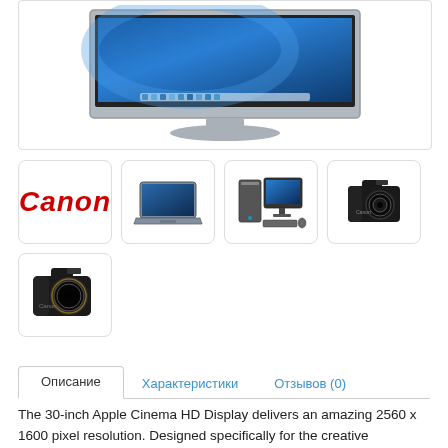[Figure (screenshot): Apple Cinema HD Display monitor showing blue Mac OS X desktop with dock at bottom]
[Figure (logo): Canon logo in red italic text]
[Figure (photo): Silver laptop computer thumbnail]
[Figure (photo): Desktop computer with monitor thumbnail]
[Figure (photo): Canon DSLR camera black thumbnail]
[Figure (photo): Canon DSLR camera with lens thumbnail (larger)]
Описание	Характеристики	Отзывов (0)
The 30-inch Apple Cinema HD Display delivers an amazing 2560 x 1600 pixel resolution. Designed specifically for the creative professional, this